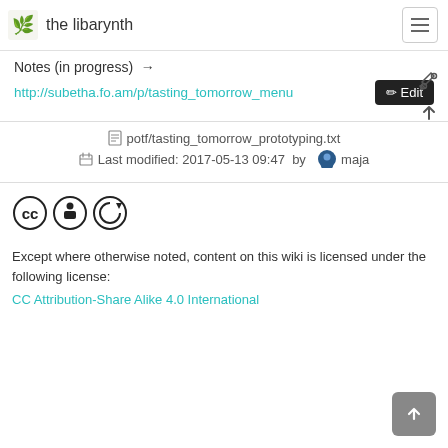the libarynth
Notes (in progress) →
http://subetha.fo.am/p/tasting_tomorrow_menu
potf/tasting_tomorrow_prototyping.txt
Last modified: 2017-05-13 09:47 by maja
[Figure (logo): Creative Commons CC BY-SA license icons]
Except where otherwise noted, content on this wiki is licensed under the following license:
CC Attribution-Share Alike 4.0 International